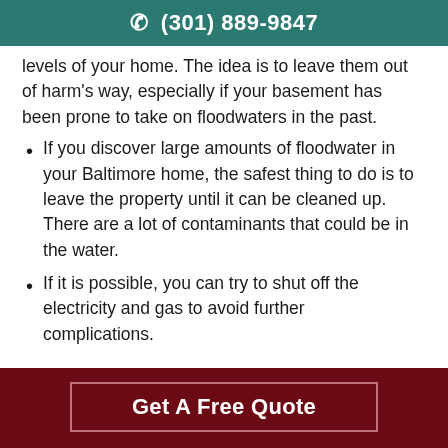☎ (301) 889-9847
levels of your home. The idea is to leave them out of harm's way, especially if your basement has been prone to take on floodwaters in the past.
If you discover large amounts of floodwater in your Baltimore home, the safest thing to do is to leave the property until it can be cleaned up. There are a lot of contaminants that could be in the water.
If it is possible, you can try to shut off the electricity and gas to avoid further complications.
Get A Free Quote